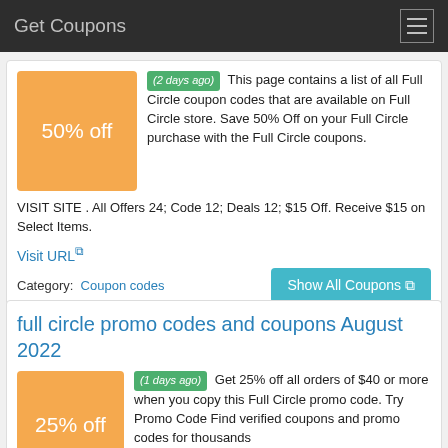Get Coupons
(2 days ago) This page contains a list of all Full Circle coupon codes that are available on Full Circle store. Save 50% Off on your Full Circle purchase with the Full Circle coupons. VISIT SITE . All Offers 24; Code 12; Deals 12; $15 Off. Receive $15 on Select Items.
Visit URL
Category: Coupon codes
full circle promo codes and coupons August 2022
(1 days ago) Get 25% off all orders of $40 or more when you copy this Full Circle promo code. Try Promo Code Find verified coupons and promo codes for thousands